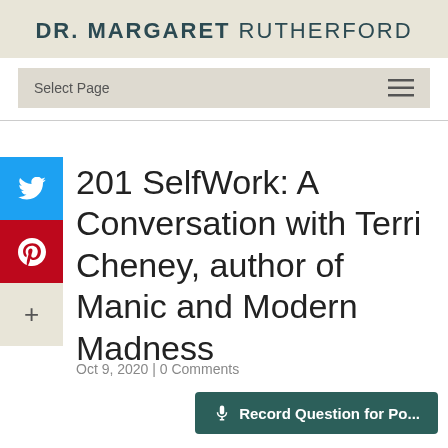DR. MARGARET RUTHERFORD
Select Page
201 SelfWork: A Conversation with Terri Cheney, author of Manic and Modern Madness
Oct 9, 2020 | 0 Comments
Record Question for Po...